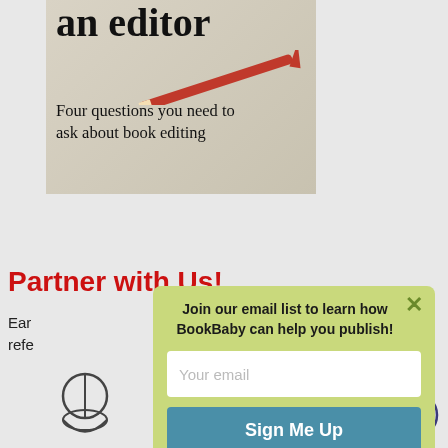[Figure (illustration): Book cover image showing text 'an editor' in large serif font with subtitle 'Four questions you need to ask about book editing' and a red pencil on a beige/paper background]
Partner with Us!
Ear... refe...
[Figure (illustration): Partial illustration of a person or character at bottom left]
[Figure (infographic): Popup modal with light green background containing email signup form. Title: 'Join our email list to learn how BookBaby can help you publish!' with email input field placeholder 'Your email' and 'Sign Me Up' button in teal. X close button in top right.]
[Figure (illustration): Cookie consent icon: circle with cookie/dots pattern in bottom right corner]